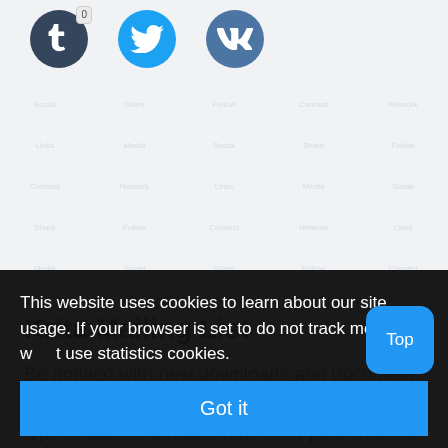[Figure (screenshot): Social media share icons: Tumblr (with badge showing 0), Twitter, and VK, displayed as circular colored icons on a light gray background with faded watermark text grid.]
Krita Mailing List
Be notified with new downloads and upcoming release information. We will not send you any type of Sale or Limited Time Only junk. Just the
This website uses cookies to learn about our site usage. If your browser is set to do not track mode we w t use statistics cookies.
Got it